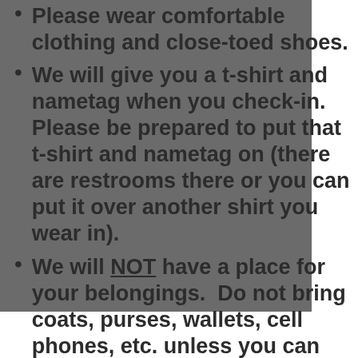Please wear comfortable clothing and close-toed shoes.
We will give you a t-shirt and nametag when you check-in.  Please be prepared to put that t-shirt and nametag on (there are restrooms there or you can put it over another shirt you wear in).
We will NOT have a place for your belongings.  Do not bring coats, purses, wallets, cell phones, etc. unless you can keep them on you at all times.  You will not need any money or ID at NMOM.
We ask that cell phones be on SILENT and that they are not used on the treatment floor. Do not leave personal items...